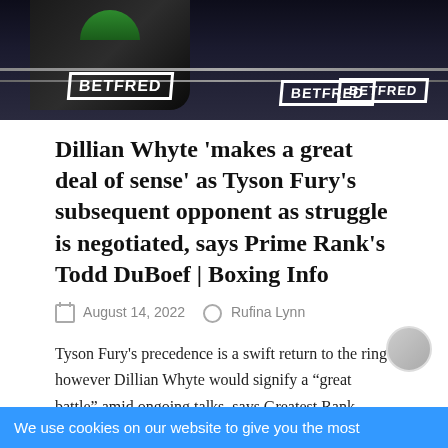[Figure (photo): Boxing match photo with BETFRED branding visible on ropes/banners, dark figures of boxers in the ring]
Dillian Whyte ‘makes a great deal of sense’ as Tyson Fury’s subsequent opponent as struggle is negotiated, says Prime Rank’s Todd DuBoef | Boxing Info
August 14, 2022   Rufina Lynn
Tyson Fury’s precedence is a swift return to the ring however Dillian Whyte would signify a “great battle” amid ongoing talks, says Greatest Rank president Todd DuBoef.
We use cookies on our website to give you the most